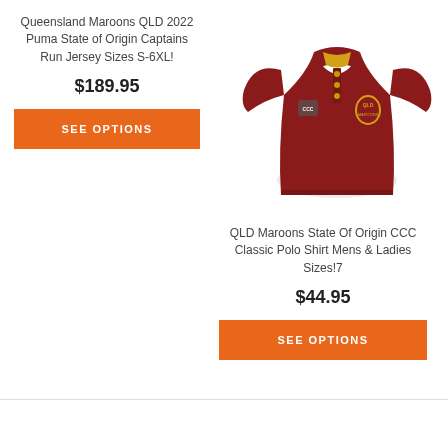Queensland Maroons QLD 2022 Puma State of Origin Captains Run Jersey Sizes S-6XL!
$189.95
SEE OPTIONS
[Figure (photo): Dark red/maroon rugby jersey polo shirt with Canterbury logo and Queensland Maroons crest badge, short sleeves, gold/yellow collar detail]
QLD Maroons State Of Origin CCC Classic Polo Shirt Mens & Ladies Sizes!7
$44.95
SEE OPTIONS